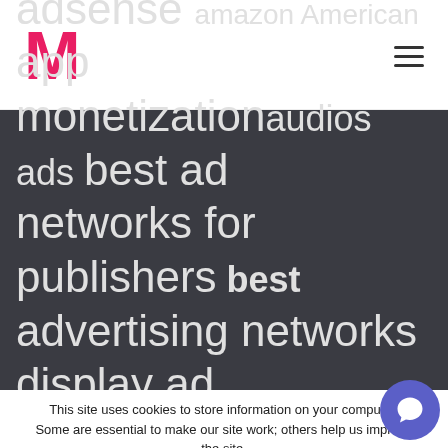M
[Figure (infographic): Tag cloud on dark background with keywords: adsense amazon American app monetization audios ads best ad networks for publishers best advertising networks display ad networks Blog Blogger Blogging]
This site uses cookies to store information on your computer. Some are essential to make our site work; others help us improve the site. By continuing to use this site, you consent to the place of these cookies.
Accept   Read More